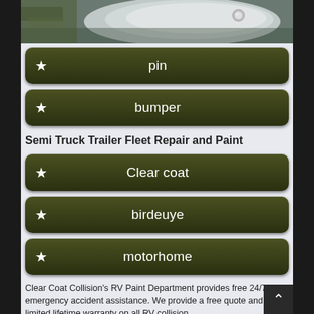[Figure (photo): Close-up photo of a vehicle fender/body panel, silver/grey metallic finish with a chrome fuel cap, partial view of camouflage clothing]
★ pin
★ bumper
Semi Truck Trailer Fleet Repair and Paint
★ Clear coat
★ birdeuye
★ motorhome
Clear Coat Collision's RV Paint Department provides free 24/7 emergency accident assistance. We provide a free quote and a limited lifetime warranty on all RV collision